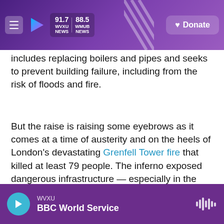WVXU 91.7 | WHUB 88.5 | Donate
includes replacing boilers and pipes and seeks to prevent building failure, including from the risk of floods and fire.
But the raise is raising some eyebrows as it comes at a time of austerity and on the heels of London's devastating Grenfell Tower fire that killed at least 79 people. The inferno exposed dangerous infrastructure — especially in the form of combustible exterior paneling — that many low-income residents are exposed to, highlighting the divide between rich and poor, says the BBC.
WVXU | BBC World Service